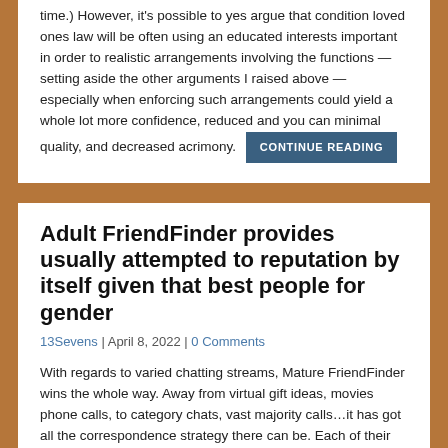time.) However, it's possible to yes argue that condition loved ones law will be often using an educated interests important in order to realistic arrangements involving the functions — setting aside the other arguments I raised above — especially when enforcing such arrangements could yield a whole lot more confidence, reduced and you can minimal quality, and decreased acrimony. CONTINUE READING
Adult FriendFinder provides usually attempted to reputation by itself given that best people for gender
13Sevens | April 8, 2022 | 0 Comments
With regards to varied chatting streams, Mature FriendFinder wins the whole way. Away from virtual gift ideas, movies phone calls, to category chats, vast majority calls…it has got all the correspondence strategy there can be. Each of their chatting streams are very well-situated. They are smooth with a straightforward interface.
You can easily switch out of an audio call to help you a video you to and you may add more professionals. CONTINUE READING